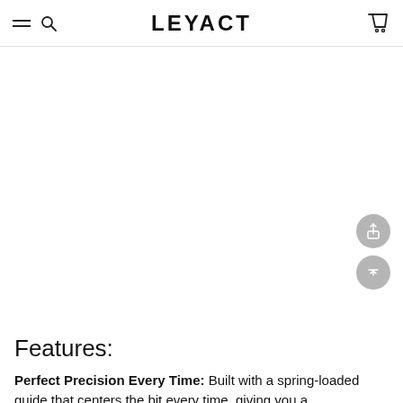LEYACT
[Figure (screenshot): Blank white product image area]
Features:
Perfect Precision Every Time: Built with a spring-loaded guide that centers the bit every time, giving you a